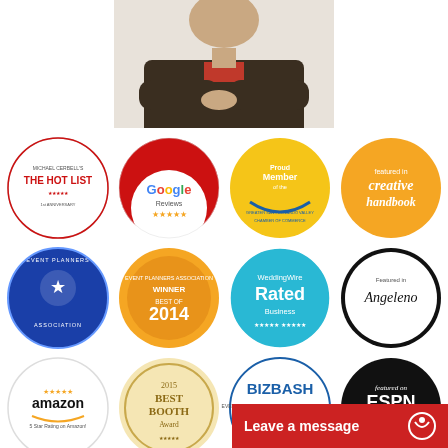[Figure (photo): Professional headshot of a woman in a dark blazer with arms crossed, cropped at torso]
[Figure (infographic): Grid of 12 circular badge logos: Michael Cerbell's The Hot List, Google Reviews 5-star, Proud Member of the Greater San Fernando Valley Chamber of Commerce, Featured in Creative Handbook, Event Planners Association, Event Planners Association Winner Best of 2014, WeddingWire Rated Business, Featured in Angeleno, Amazon 5 Star Rating, 2015 Best Booth Award, BizBash Featured in Inside Edge, Featured on ESPN LA 710 AM]
Leave a message